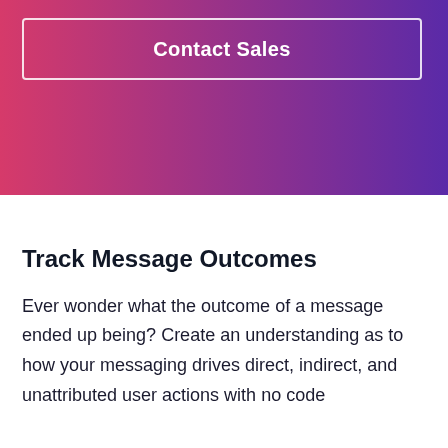[Figure (other): Gradient banner with pink-to-purple gradient background and a 'Contact Sales' button with white border]
Track Message Outcomes
Ever wonder what the outcome of a message ended up being? Create an understanding as to how your messaging drives direct, indirect, and unattributed user actions with no code